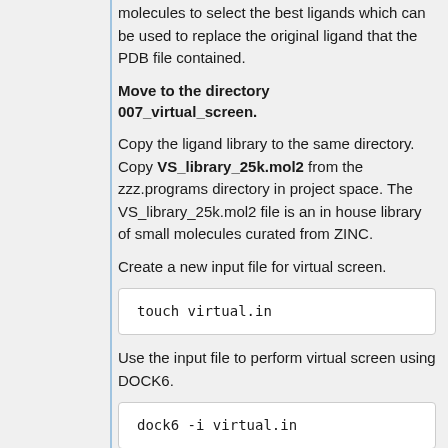molecules to select the best ligands which can be used to replace the original ligand that the PDB file contained.
Move to the directory 007_virtual_screen.
Copy the ligand library to the same directory. Copy VS_library_25k.mol2 from the zzz.programs directory in project space. The VS_library_25k.mol2 file is an in house library of small molecules curated from ZINC.
Create a new input file for virtual screen.
touch virtual.in
Use the input file to perform virtual screen using DOCK6.
dock6 -i virtual.in